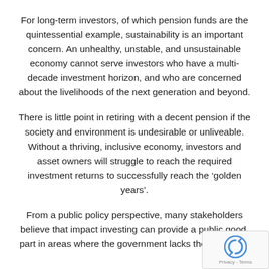For long-term investors, of which pension funds are the quintessential example, sustainability is an important concern. An unhealthy, unstable, and unsustainable economy cannot serve investors who have a multi-decade investment horizon, and who are concerned about the livelihoods of the next generation and beyond.
There is little point in retiring with a decent pension if the society and environment is undesirable or unliveable. Without a thriving, inclusive economy, investors and asset owners will struggle to reach the required investment returns to successfully reach the ‘golden years’.
From a public policy perspective, many stakeholders believe that impact investing can provide a public good, part in areas where the government lacks the resources